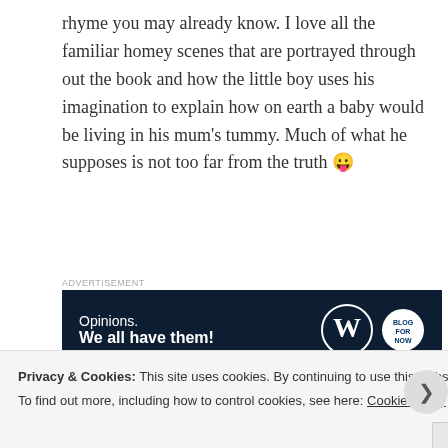rhyme you may already know. I love all the familiar homey scenes that are portrayed through out the book and how the little boy uses his imagination to explain how on earth a baby would be living in his mum's tummy. Much of what he supposes is not too far from the truth 😉
[Figure (screenshot): Advertisement banner with dark navy background. Text reads 'Opinions. We all have them!' with WordPress logo and another circular logo on the right.]
[Figure (photo): Partial photo strip showing colorful book or object, cropped at bottom of page.]
Privacy & Cookies: This site uses cookies. By continuing to use this website, you agree to their use.
To find out more, including how to control cookies, see here: Cookie Policy
Close and accept